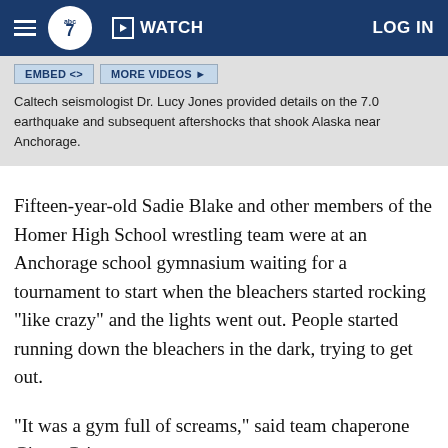abc7 WATCH LOG IN
EMBED <> MORE VIDEOS >
Caltech seismologist Dr. Lucy Jones provided details on the 7.0 earthquake and subsequent aftershocks that shook Alaska near Anchorage.
Fifteen-year-old Sadie Blake and other members of the Homer High School wrestling team were at an Anchorage school gymnasium waiting for a tournament to start when the bleachers started rocking "like crazy" and the lights went out. People started running down the bleachers in the dark, trying to get out.
"It was a gym full of screams," said team chaperone Ginny Grimes.